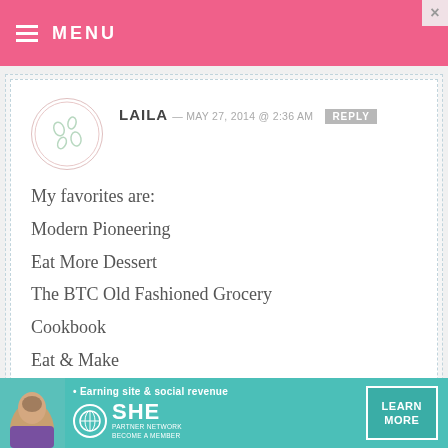MENU
LAILA — MAY 27, 2014 @ 2:36 AM  REPLY
My favorites are:
Modern Pioneering
Eat More Dessert
The BTC Old Fashioned Grocery Cookbook
Eat & Make
Josey Baker bread

Crossing fingers. =)
[Figure (infographic): Advertisement banner for SHE Partner Network with teal background, person photo, text 'Earning site & social revenue', SHE logo, and LEARN MORE button]